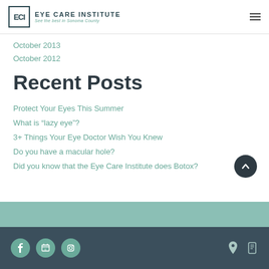EYE CARE INSTITUTE See the best in Sonoma County
October 2013
October 2012
Recent Posts
Protect Your Eyes This Summer
What is “lazy eye”?
3+ Things Your Eye Doctor Wish You Knew
Do you have a macular hole?
Did you know that the Eye Care Institute does Botox?